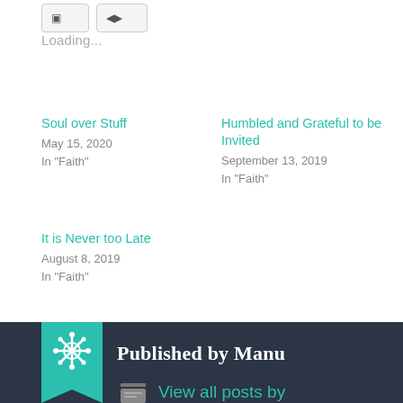Loading...
Soul over Stuff
May 15, 2020
In "Faith"
Humbled and Grateful to be Invited
September 13, 2019
In "Faith"
It is Never too Late
August 8, 2019
In "Faith"
Published by Manu
View all posts by